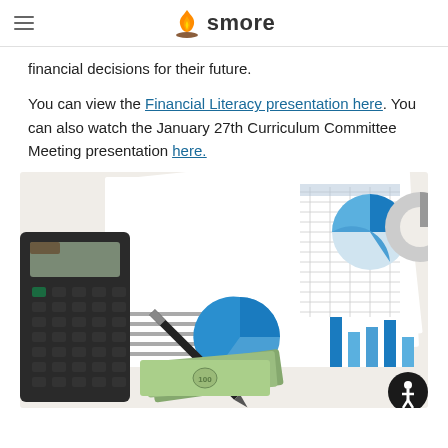smore
financial decisions for their future.
You can view the Financial Literacy presentation here. You can also watch the January 27th Curriculum Committee Meeting presentation here.
[Figure (photo): Photo of a calculator, financial charts with pie charts and bar charts, a pen, and US dollar bills spread on a white surface — representing financial literacy and planning.]